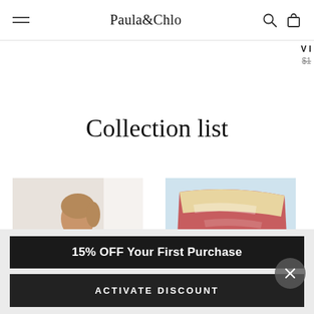Paula&Chlo
VI
$1
Collection list
[Figure (photo): Woman wearing dark top, touching necklace, against white wall]
[Figure (photo): Colorful fringed textile or garment on light blue background]
15% OFF Your First Purchase
ACTIVATE DISCOUNT